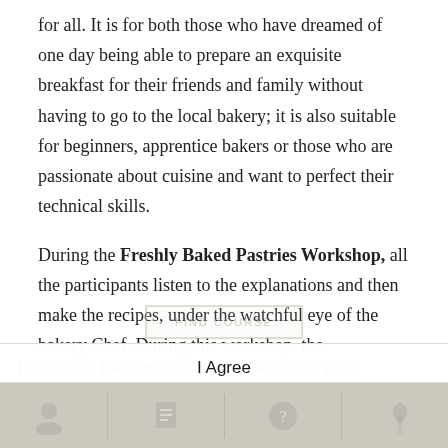for all. It is for both those who have dreamed of one day being able to prepare an exquisite breakfast for their friends and family without having to go to the local bakery; it is also suitable for beginners, apprentice bakers or those who are passionate about cuisine and want to perfect their technical skills.
During the Freshly Baked Pastries Workshop, all the participants listen to the explanations and then make the recipes, under the watchful eye of the bakery Chef. During this workshop, the participants follow the expert advice of the bakery Chef throughout the whole recipe making
Le Cordon Bleu uses cookies to enhance your experience of our site. By continuing to browse you consent to our use of cookies. Find out more
I Agree